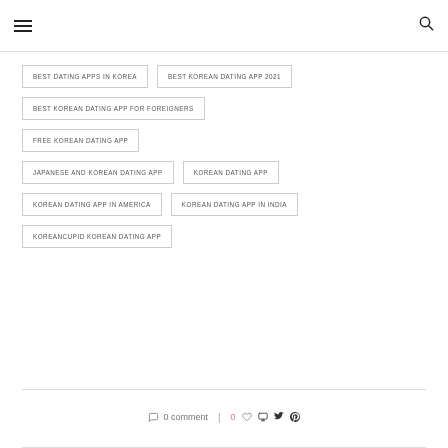Menu | Search
BEST DATING APPS IN KOREA
BEST KOREAN DATING APP 2021
BEST KOREAN DATING APP FOR FOREIGNERS
FREE KOREAN DATING APP
JAPANESE AND KOREAN DATING APP
KOREAN DATING APP
KOREAN DATING APP IN AMERICA
KOREAN DATING APP IN INDIA
KOREANCUPID KOREAN DATING APP
0 comment | 0 likes | share icons